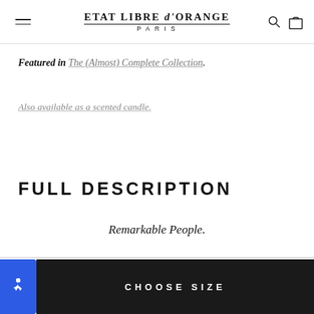ETAT LIBRE d'ORANGE PARIS
Featured in The (Almost) Complete Collection.
Also available as a scented candle.
FULL DESCRIPTION
Remarkable People.
CHOOSE SIZE